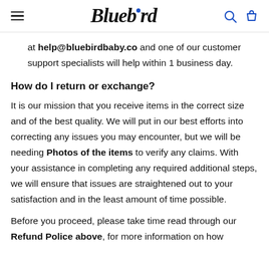Bluebird
at help@bluebirdbaby.co and one of our customer support specialists will help within 1 business day.
How do I return or exchange?
It is our mission that you receive items in the correct size and of the best quality. We will put in our best efforts into correcting any issues you may encounter, but we will be needing Photos of the items to verify any claims. With your assistance in completing any required additional steps, we will ensure that issues are straightened out to your satisfaction and in the least amount of time possible.
Before you proceed, please take time read through our Refund Police above, for more information on how